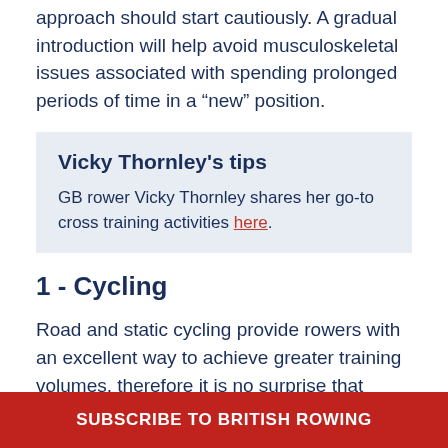approach should start cautiously. A gradual introduction will help avoid musculoskeletal issues associated with spending prolonged periods of time in a “new” position.
Vicky Thornley's tips
GB rower Vicky Thornley shares her go-to cross training activities here.
1 - Cycling
Road and static cycling provide rowers with an excellent way to achieve greater training volumes, therefore it is no surprise that cycling is one of the
SUBSCRIBE TO BRITISH ROWING